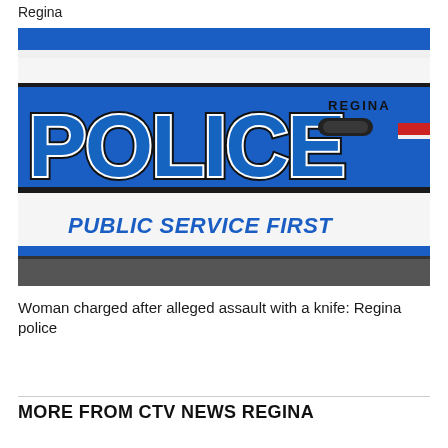Regina
[Figure (photo): Close-up photo of a Regina Police Service vehicle showing the word POLICE in large blue letters with black outline, the word REGINA above, and the motto PUBLIC SERVICE FIRST below, on a white car door with a rearview mirror visible.]
Woman charged after alleged assault with a knife: Regina police
MORE FROM CTV NEWS REGINA